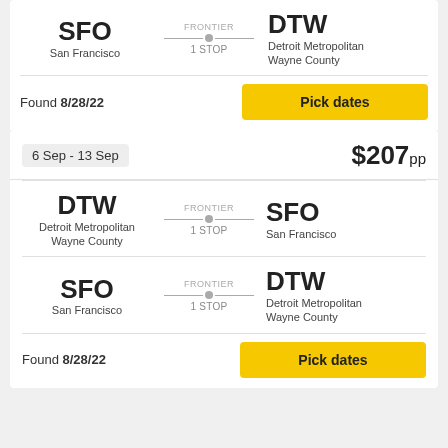Wayne County — 1 STOP
SFO San Francisco — FRONTIER — 1 STOP — DTW Detroit Metropolitan Wayne County
Found 8/28/22
Pick dates
6 Sep - 13 Sep
$207pp
DTW Detroit Metropolitan Wayne County — FRONTIER — 1 STOP — SFO San Francisco
SFO San Francisco — FRONTIER — 1 STOP — DTW Detroit Metropolitan Wayne County
Found 8/28/22
Pick dates